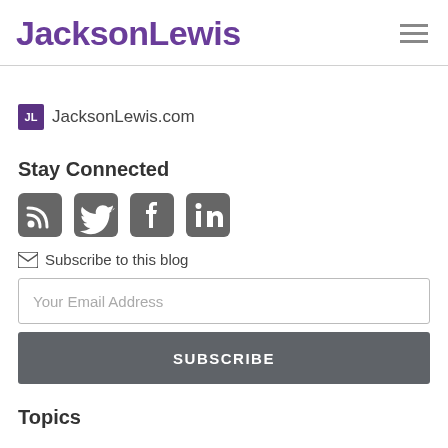JacksonLewis
JL JacksonLewis.com
Stay Connected
[Figure (infographic): Social media icons: RSS feed, Twitter, Facebook, LinkedIn]
Subscribe to this blog
Your Email Address
SUBSCRIBE
Topics